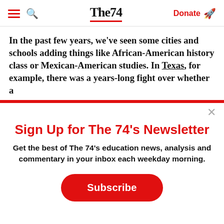The74 | Donate
In the past few years, we've seen some cities and schools adding things like African-American history class or Mexican-American studies. In Texas, for example, there was a years-long fight over whether a
Sign Up for The 74's Newsletter
Get the best of The 74's education news, analysis and commentary in your inbox each weekday morning.
Subscribe